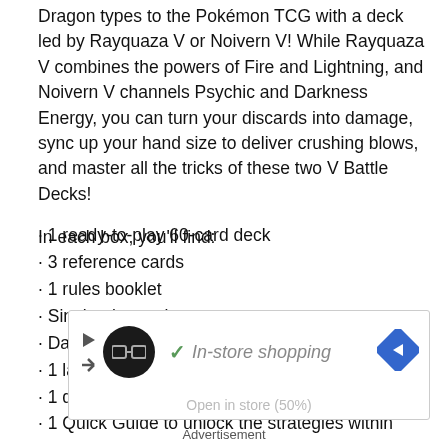Dragon types to the Pokémon TCG with a deck led by Rayquaza V or Noivern V! While Rayquaza V combines the powers of Fire and Lightning, and Noivern V channels Psychic and Darkness Energy, you can turn your discards into damage, sync up your hand size to deliver crushing blows, and master all the tricks of these two V Battle Decks!
In each box, you'll find:
1 ready-to-play 60-card deck
3 reference cards
1 rules booklet
Single-player playmat
Damage counters
1 large metallic coin
1 deck box
1 Quick Guide to unlock the strategies within
[Figure (infographic): Advertisement banner showing in-store shopping with a logo, checkmark, navigation arrow icon, and play/close controls.]
Advertisement